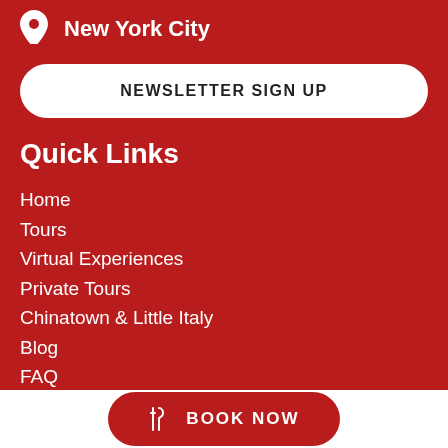New York City
NEWSLETTER SIGN UP
Quick Links
Home
Tours
Virtual Experiences
Private Tours
Chinatown & Little Italy
Blog
FAQ
BOOK NOW